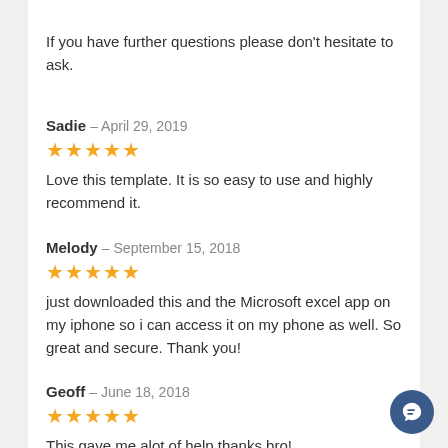If you have further questions please don't hesitate to ask.
Sadie – April 29, 2019
★★★★★
Love this template. It is so easy to use and highly recommend it.
Melody – September 15, 2018
★★★★★
just downloaded this and the Microsoft excel app on my iphone so i can access it on my phone as well. So great and secure. Thank you!
Geoff – June 18, 2018
★★★★★
This gave me alot of help thanks bro!